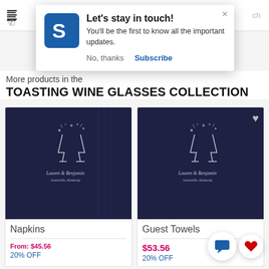[Figure (screenshot): Mobile website screenshot with a notification popup overlay saying 'Let's stay in touch!' with a logo, body text, and Subscribe/No thanks buttons]
Let's stay in touch!
You'll be the first to know all the important updates.
No, thanks
Subscribe
More products in the
TOASTING WINE GLASSES COLLECTION
Napkins
From: $45.56
20% OFF
Guest Towels
$53.56
20% OFF